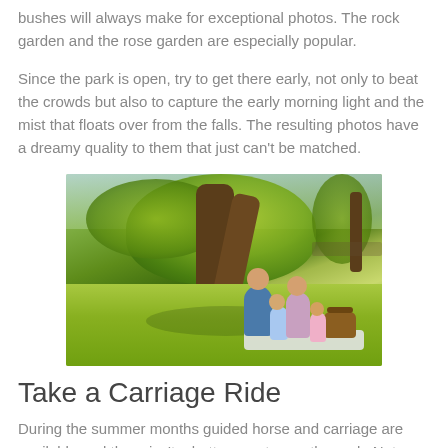bushes will always make for exceptional photos. The rock garden and the rose garden are especially popular.
Since the park is open, try to get there early, not only to beat the crowds but also to capture the early morning light and the mist that floats over from the falls. The resulting photos have a dreamy quality to them that just can't be matched.
[Figure (photo): A family having a picnic under a large tree in a sunny park. Two adults and two children sit on a blanket on green grass with a picnic basket.]
Take a Carriage Ride
During the summer months guided horse and carriage are available and there isn't a better way to see the park. Not